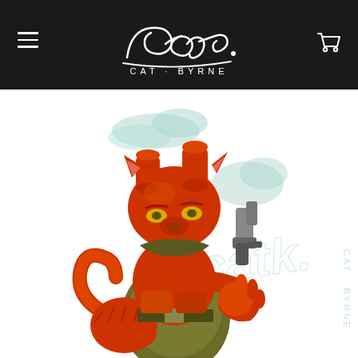Cat Byrne - Website header with logo, navigation hamburger menu, and cart icon
[Figure (illustration): Illustration of a red cat character styled as Hellboy — wearing a red costume with a large right stone fist, holding a silver gun, with two cylindrical horns on the head. The character has a tail, yellow eyes, and wears an olive-colored coat. Teal/mint smoke wisps in the background, along with a watermark of the Cat Byrne signature and 'CAT BYRNE' text in teal.]